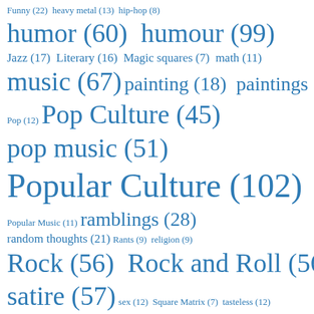Funny (22)  heavy metal (13)  hip-hop (8)  humor (60)  humour (99)  Jazz (17)  Literary (16)  Magic squares (7)  math (11)  music (67)  painting (18)  paintings (18)  Pop (12)  Pop Culture (45)  pop music (51)  Popular Culture (102)  Popular Music (11)  ramblings (28)  random thoughts (21)  Rants (9)  religion (9)  Rock (56)  Rock and Roll (56)  satire (57)  sex (12)  Square Matrix (7)  tasteless (12)  trippy-pics (100)